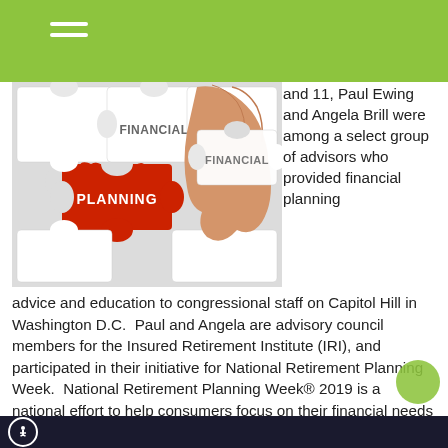[Figure (photo): Photo of puzzle pieces with one red piece labeled PLANNING and a white piece labeled FINANCIAL being placed by a hand]
and 11, Paul Ewing and Angela Brill were among a select group of advisors who provided financial planning advice and education to congressional staff on Capitol Hill in Washington D.C.  Paul and Angela are advisory council members for the Insured Retirement Institute (IRI), and participated in their initiative for National Retirement Planning Week.  National Retirement Planning Week® 2019 is a national effort to help consumers focus on their financial needs in retirement.  Ten advisors met with 130